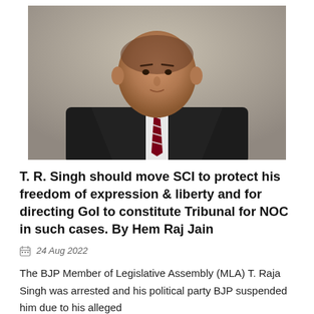[Figure (photo): Portrait photo of a man (T. R. Singh) in a dark suit with a striped tie, against a neutral background]
T. R. Singh should move SCI to protect his freedom of expression & liberty and for directing GoI to constitute Tribunal for NOC in such cases. By Hem Raj Jain
24 Aug 2022
The BJP Member of Legislative Assembly (MLA) T. Raja Singh was arrested and his political party BJP suspended him due to his alleged